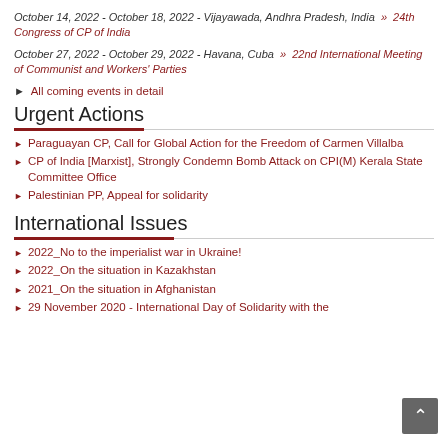October 14, 2022 - October 18, 2022 - Vijayawada, Andhra Pradesh, India  »  24th Congress of CP of India
October 27, 2022 - October 29, 2022 - Havana, Cuba  »  22nd International Meeting of Communist and Workers' Parties
All coming events in detail
Urgent Actions
Paraguayan CP, Call for Global Action for the Freedom of Carmen Villalba
CP of India [Marxist], Strongly Condemn Bomb Attack on CPI(M) Kerala State Committee Office
Palestinian PP, Appeal for solidarity
International Issues
2022_No to the imperialist war in Ukraine!
2022_On the situation in Kazakhstan
2021_On the situation in Afghanistan
29 November 2020 - International Day of Solidarity with the